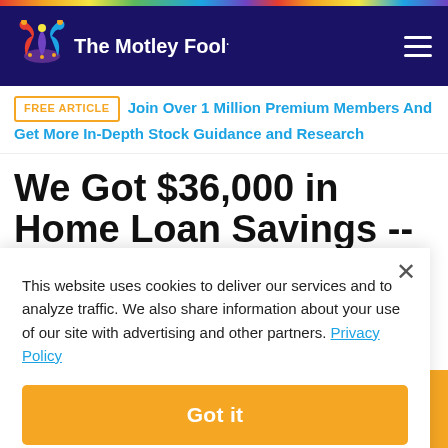[Figure (logo): The Motley Fool logo with jester hat on dark navy background, hamburger menu icon on right]
FREE ARTICLE   Join Over 1 Million Premium Members And Get More In-Depth Stock Guidance and Research
We Got $36,000 in Home Loan Savings -- but You Could Do Even Better
This website uses cookies to deliver our services and to analyze traffic. We also share information about your use of our site with advertising and other partners. Privacy Policy
Got it
Cookie Settings